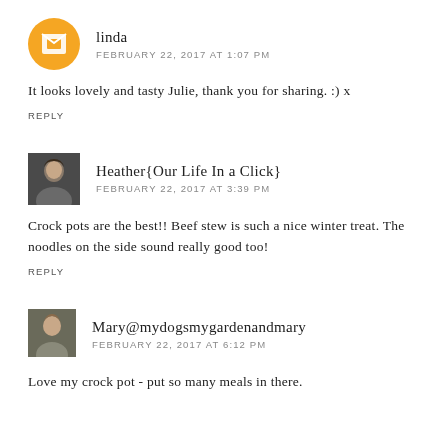linda
FEBRUARY 22, 2017 AT 1:07 PM
It looks lovely and tasty Julie, thank you for sharing. :) x
REPLY
Heather{Our Life In a Click}
FEBRUARY 22, 2017 AT 3:39 PM
Crock pots are the best!! Beef stew is such a nice winter treat. The noodles on the side sound really good too!
REPLY
Mary@mydogsmygardenandmary
FEBRUARY 22, 2017 AT 6:12 PM
Love my crock pot - put so many meals in there.